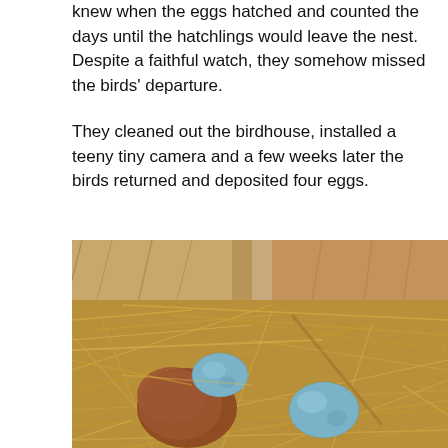knew when the eggs hatched and counted the days until the hatchlings would leave the nest. Despite a faithful watch, they somehow missed the birds' departure.
They cleaned out the birdhouse, installed a teeny tiny camera and a few weeks later the birds returned and deposited four eggs.
[Figure (photo): Close-up photo of a bird nest inside a wooden birdhouse, showing straw and dried grass nesting material, two blue robin eggs, and what appears to be newly hatched chicks nestled among the straw.]